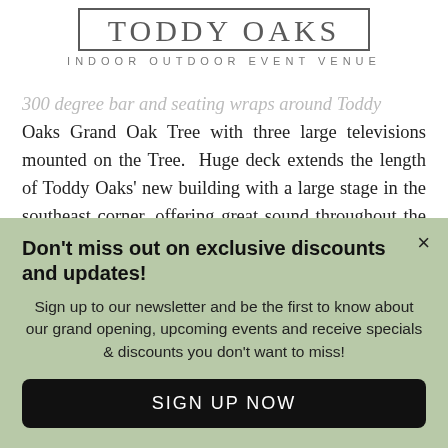TODDY OAKS
INDOOR OUTDOOR EVENT VENUE
300 degree bar and seating wraps around Toddy Oaks Grand Oak Tree with three large televisions mounted on the Tree. Huge deck extends the length of Toddy Oaks' new building with a large stage in the southeast corner, offering great sound throughout the surroundings. Large Green area between the Deck and Toddy Oaks Building with
Don't miss out on exclusive discounts and updates!
Sign up to our newsletter and be the first to know about our grand opening, upcoming events and receive specials & discounts you don't want to miss!
SIGN UP NOW